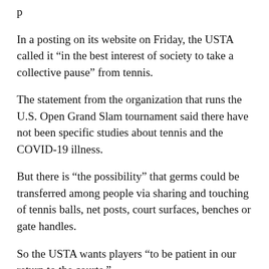p
In a posting on its website on Friday, the USTA called it “in the best interest of society to take a collective pause” from tennis.
The statement from the organization that runs the U.S. Open Grand Slam tournament said there have not been specific studies about tennis and the COVID-19 illness.
But there is “the possibility” that germs could be transferred among people via sharing and touching of tennis balls, net posts, court surfaces, benches or gate handles.
So the USTA wants players “to be patient in our return to the courts.”
In the meantime, the group encouraged people to create what it termed “tennis-at-home” variations.